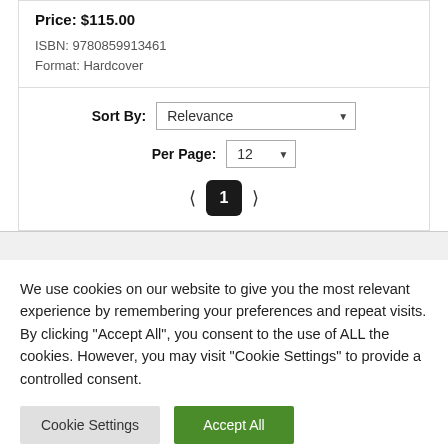Price: $115.00
ISBN: 9780859913461
Format: Hardcover
Sort By: Relevance
Per Page: 12
1
We use cookies on our website to give you the most relevant experience by remembering your preferences and repeat visits. By clicking "Accept All", you consent to the use of ALL the cookies. However, you may visit "Cookie Settings" to provide a controlled consent.
Cookie Settings
Accept All